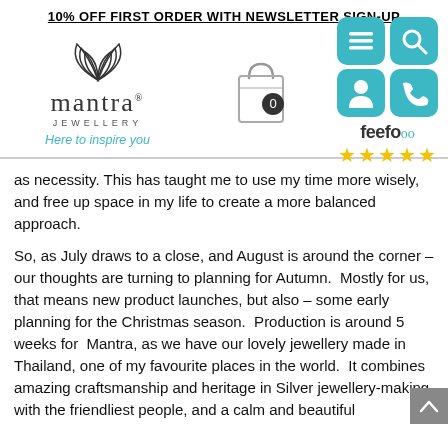10% OFF FIRST ORDER WITH NEWSLETTER SIGN-UP
[Figure (logo): Mantra Jewellery logo with lotus flower SVG icon, brand name 'mantra®', 'JEWELLERY' subtitle, and tagline 'Here to inspire you' in teal]
[Figure (illustration): Shopping bag icon with a '0' badge counter]
[Figure (infographic): Four teal icon boxes in a 2x2 grid: menu/hamburger icon, magnifying glass/search icon, person/account icon, telephone/contact icon. Below: Feefo logo with teal eyes and 5 gold stars rating.]
as necessity. This has taught me to use my time more wisely, and free up space in my life to create a more balanced approach.
So, as July draws to a close, and August is around the corner – our thoughts are turning to planning for Autumn.  Mostly for us, that means new product launches, but also – some early planning for the Christmas season.  Production is around 5 weeks for  Mantra, as we have our lovely jewellery made in Thailand, one of my favourite places in the world.  It combines amazing craftsmanship and heritage in Silver jewellery-making, with the friendliest people, and a calm and beautiful